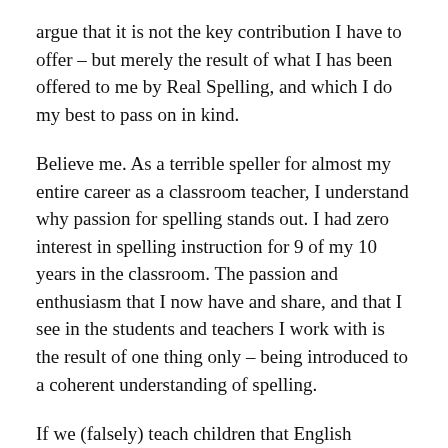argue that it is not the key contribution I have to offer – but merely the result of what I has been offered to me by Real Spelling, and which I do my best to pass on in kind.
Believe me. As a terrible speller for almost my entire career as a classroom teacher, I understand why passion for spelling stands out. I had zero interest in spelling instruction for 9 of my 10 years in the classroom. The passion and enthusiasm that I now have and share, and that I see in the students and teachers I work with is the result of one thing only – being introduced to a coherent understanding of spelling.
If we (falsely) teach children that English spelling is irregular with many exceptions – there is no possibility for it to generate the enthusiasm you are kindly celebrating. The reason this distinction between enthusiasm and the source...